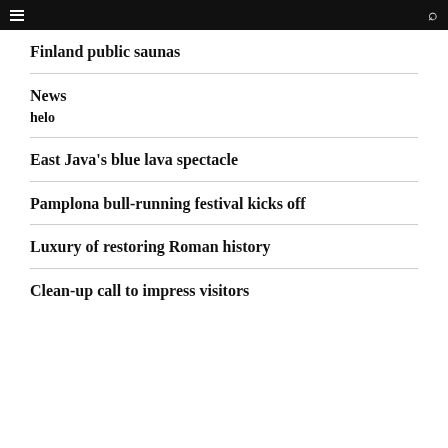Finland public saunas
News
helo
East Java's blue lava spectacle
Pamplona bull-running festival kicks off
Luxury of restoring Roman history
Clean-up call to impress visitors